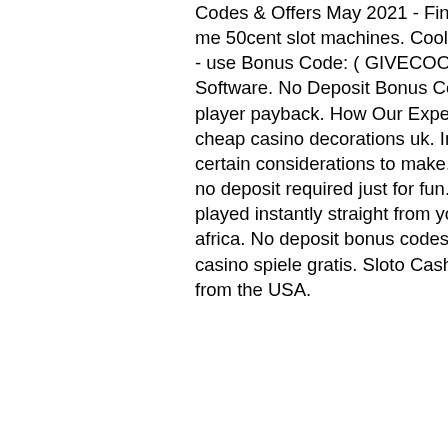Codes & Offers May 2021 - Find the top casino n. Play FREE + win real money, show me 50cent slot machines. Cool Cat Casino Free Chip Codes - Get $100 Free Money - use Bonus Code: ( GIVECOOL100) - USA Players Accepted - Powered by RTG Software. No Deposit Bonus Codes For Silver Oak Casino - 06/2021, casino royale player payback. How Our Experts Choose and Test New No Deposit Promotions, cheap casino decorations uk. In order to find great new deposit promotions, there are certain considerations to make. Play free casino games online no download and with no deposit required just for fun. Instant play most popular casino games that can be played instantly straight from your browser, free no deposit bitcoin casino south africa. No deposit bonus codes SlotoCash Casino Online spins bonuses match, casino spiele gratis. Sloto Cash casino from October 2011 is accepting new players from the USA.